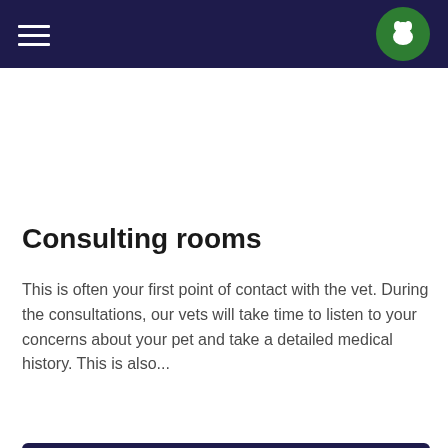Consulting rooms
This is often your first point of contact with the vet. During the consultations, our vets will take time to listen to your concerns about your pet and take a detailed medical history. This is also...
Read more
[Figure (photo): Close-up photo of a veterinarian examining a pet, partially visible at the bottom of the page]